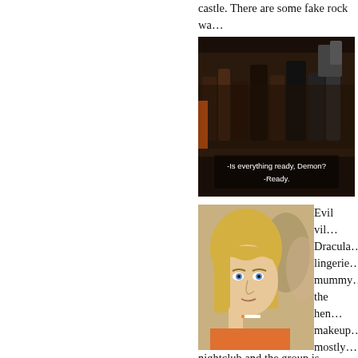castle. There are some fake rock wa... several others.
[Figure (screenshot): Dark scene with many people in black costumes in a cave-like setting. Subtitles read: -Is everything ready, Demon? -Ready.]
[Figure (screenshot): Close-up of a blonde woman looking to the side with her hand near her face, wearing an orange top.]
Evil vil... Dracula... lingerie... mummy... the hen... makeup... mostly... nice blo... picture... nightclub and the group is watching... is from another movie, just spliced i... totally different but you can see she'... not sure which. There's a lot of wres... the monsters start showing up. The s...